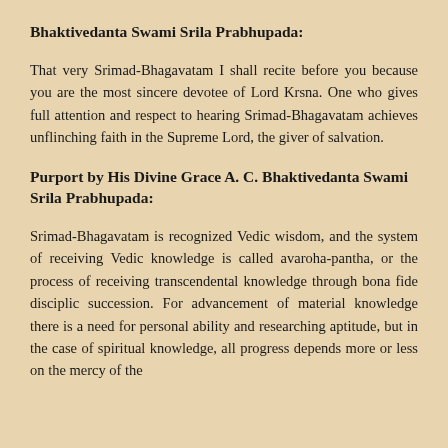Bhaktivedanta Swami Srila Prabhupada:
That very Srimad-Bhagavatam I shall recite before you because you are the most sincere devotee of Lord Krsna. One who gives full attention and respect to hearing Srimad-Bhagavatam achieves unflinching faith in the Supreme Lord, the giver of salvation.
Purport by His Divine Grace A. C. Bhaktivedanta Swami Srila Prabhupada:
Srimad-Bhagavatam is recognized Vedic wisdom, and the system of receiving Vedic knowledge is called avaroha-pantha, or the process of receiving transcendental knowledge through bona fide disciplic succession. For advancement of material knowledge there is a need for personal ability and researching aptitude, but in the case of spiritual knowledge, all progress depends more or less on the mercy of the